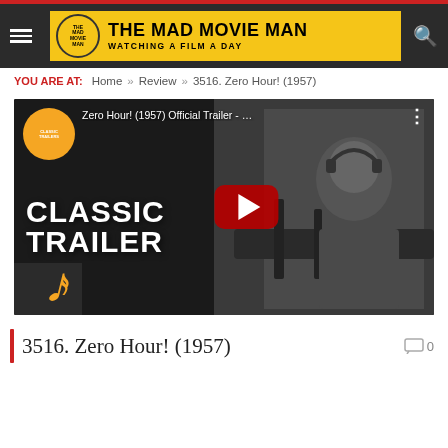THE MAD MOVIE MAN — WATCHING A FILM A DAY
YOU ARE AT: Home » Review » 3516. Zero Hour! (1957)
[Figure (screenshot): YouTube video thumbnail for Zero Hour! (1957) Official Trailer, showing a black and white still of a man at the cockpit with Classic Trailers badge and Fandango logo, with a red play button overlay. Text overlay reads CLASSIC TRAILER.]
3516. Zero Hour! (1957)